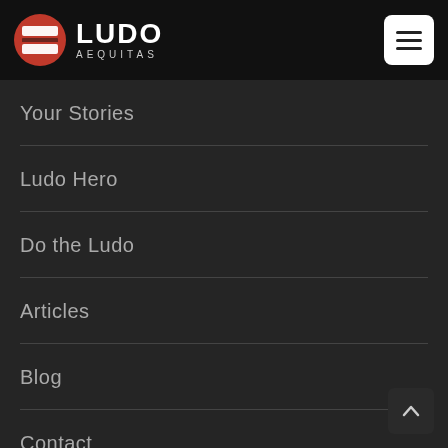LUDO AEQUITAS
Your Stories
Ludo Hero
Do the Ludo
Articles
Blog
Contact